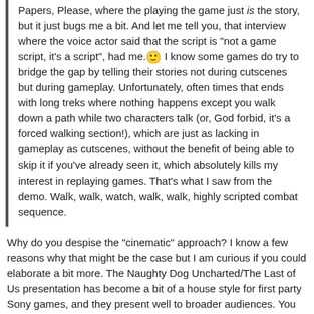Papers, Please, where the playing the game just is the story, but it just bugs me a bit. And let me tell you, that interview where the voice actor said that the script is "not a game script, it's a script", had me. 🙂 I know some games do try to bridge the gap by telling their stories not during cutscenes but during gameplay. Unfortunately, often times that ends with long treks where nothing happens except you walk down a path while two characters talk (or, God forbid, it's a forced walking section!), which are just as lacking in gameplay as cutscenes, without the benefit of being able to skip it if you've already seen it, which absolutely kills my interest in replaying games. That's what I saw from the demo. Walk, walk, watch, walk, walk, highly scripted combat sequence.
Why do you despise the "cinematic" approach? I know a few reasons why that might be the case but I am curious if you could elaborate a bit more. The Naughty Dog Uncharted/The Last of Us presentation has become a bit of a house style for first party Sony games, and they present well to broader audiences. You could show a random person on the street 5 minutes of these games and they would say "oh it's like a movie that you play." With games that